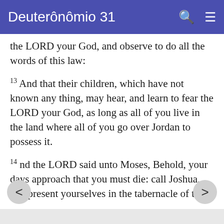Deuteronômio 31
the LORD your God, and observe to do all the words of this law:
13 And that their children, which have not known any thing, may hear, and learn to fear the LORD your God, as long as all of you live in the land where all of you go over Jordan to possess it.
14 And the LORD said unto Moses, Behold, your days approach that you must die: call Joshua, and present yourselves in the tabernacle of the